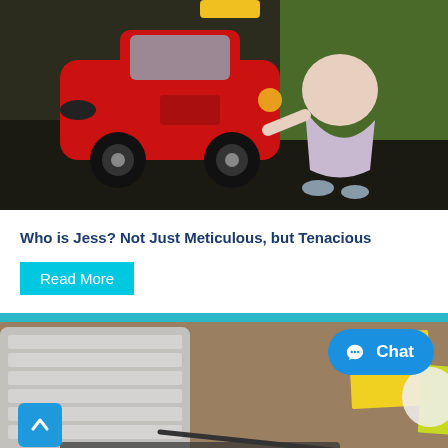[Figure (photo): A young child in a dress crouching beside a red toy car (Cozy Coupe) on a paved outdoor surface, appearing to inspect or fix the wheel.]
Who is Jess? Not Just Meticulous, but Tenacious
Read More
[Figure (photo): Overhead view of a desk with a white keyboard, sticky note pads (yellow and green), a pen, and a white cup. A blue Chat button and a scroll-to-top arrow button are overlaid on the image.]